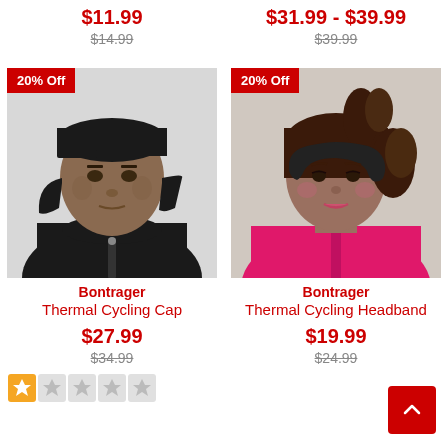$11.99 (sale), $14.99 (original) — Summer Cycling Headband
$31.99 - $39.99 (sale), $39.99 (original) — Thermal Cycling Arm Warmer
[Figure (photo): Man wearing black Bontrager Thermal Cycling Cap with 20% Off badge]
Bontrager Thermal Cycling Cap — $27.99 sale, $34.99 original
[Figure (photo): Woman wearing black Bontrager Thermal Cycling Headband with 20% Off badge]
Bontrager Thermal Cycling Headband — $19.99 sale, $24.99 original
[Figure (other): Star rating: 1 filled star out of 5]